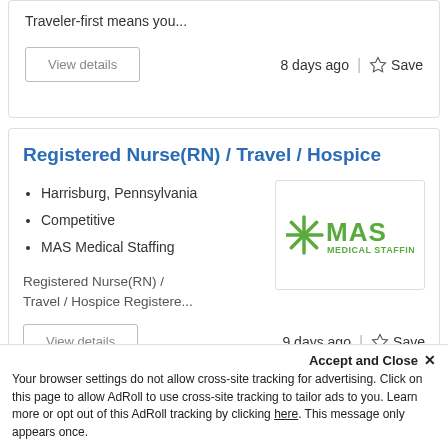Traveler-first means you...
View details
8 days ago
Save
Registered Nurse(RN) / Travel / Hospice
Harrisburg, Pennsylvania
Competitive
MAS Medical Staffing
[Figure (logo): MAS Medical Staffing logo — green asterisk/snowflake symbol followed by bold green 'MAS' text and smaller green 'MEDICAL STAFFING' text]
Registered Nurse(RN) / Travel / Hospice Registere...
View details
9 days ago
Save
Accept and Close ✕
Your browser settings do not allow cross-site tracking for advertising. Click on this page to allow AdRoll to use cross-site tracking to tailor ads to you. Learn more or opt out of this AdRoll tracking by clicking here. This message only appears once.